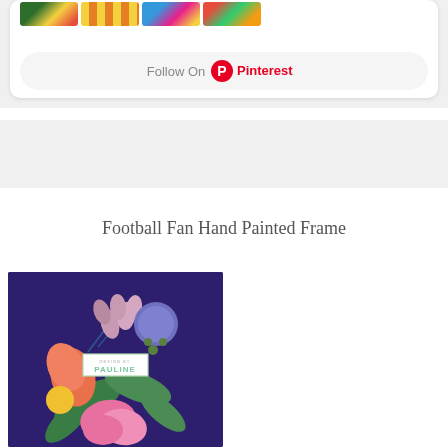[Figure (screenshot): Pinterest widget showing four floral/pattern image thumbnails and a 'Follow On Pinterest' button on a white card with rounded corners, on a light gray background]
[Figure (other): Gray advertisement banner area]
Football Fan Hand Painted Frame
[Figure (illustration): Dark navy/purple background with colorful hand-painted floral illustration featuring pink, coral, green leaves and flowers, with a 'Design by Pauline' watermark label in the center]